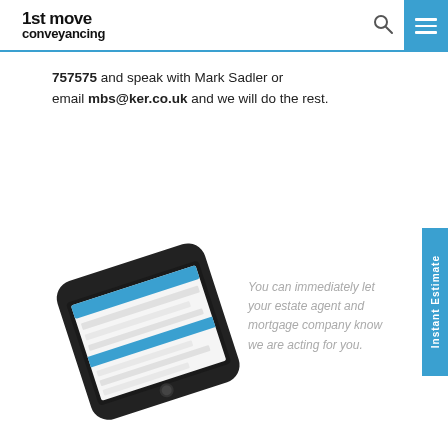1st move conveyancing
757575  and speak with Mark Sadler or email mbs@ker.co.uk and we will do the rest.
[Figure (photo): Smartphone showing a conveyancing web application/form on its screen, displayed in landscape-style tilted perspective]
You can immediately let your estate agent and mortgage company know we are acting for you.